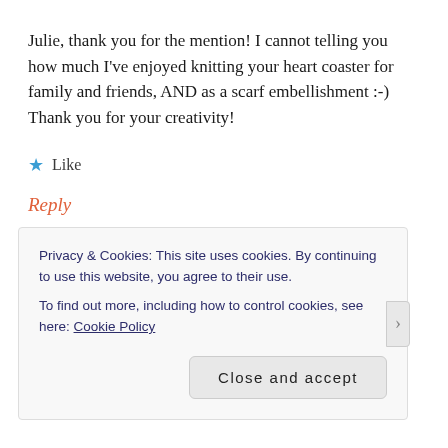Julie, thank you for the mention! I cannot telling you how much I've enjoyed knitting your heart coaster for family and friends, AND as a scarf embellishment :-) Thank you for your creativity!
★ Like
Reply
LEAVE A COMMENT
Your email address will not be published. Required
Privacy & Cookies: This site uses cookies. By continuing to use this website, you agree to their use.
To find out more, including how to control cookies, see here: Cookie Policy
Close and accept